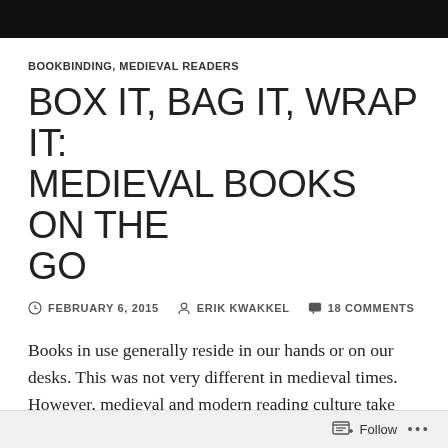BOOKBINDING, MEDIEVAL READERS
BOX IT, BAG IT, WRAP IT: MEDIEVAL BOOKS ON THE GO
FEBRUARY 6, 2015   ERIK KWAKKEL   18 COMMENTS
Books in use generally reside in our hands or on our desks. This was not very different in medieval times. However, medieval and modern reading culture take different paths when it comes to books that are not in use. While both then and now the objects are commonly shelved after use, medieval readers had additional storing options: slipping the book into a box,